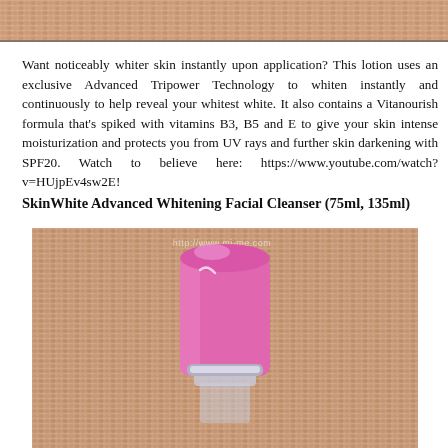[Figure (photo): Top portion of a photo showing a textured woven fabric/knit background in beige/salmon tones — cropped to show only the upper strip]
Want noticeably whiter skin instantly upon application? This lotion uses an exclusive Advanced Tripower Technology to whiten instantly and continuously to help reveal your whitest white. It also contains a Vitanourish formula that's spiked with vitamins B3, B5 and E to give your skin intense moisturization and protects you from UV rays and further skin darkening with SPF20. Watch to believe here: https://www.youtube.com/watch?v=HUjpEv4sw2E!
SkinWhite Advanced Whitening Facial Cleanser (75ml, 135ml)
[Figure (photo): Photo of a pink/magenta bottle cap of a SkinWhite facial cleanser product, set against a woven beige/salmon fabric background, with a watermark URL visible at the top of the image]